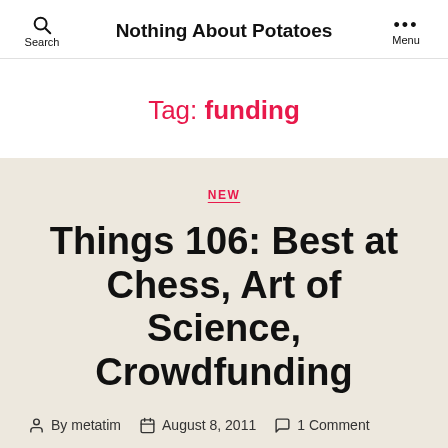Nothing About Potatoes
Tag: funding
NEW
Things 106: Best at Chess, Art of Science, Crowdfunding
By metatim   August 8, 2011   1 Comment